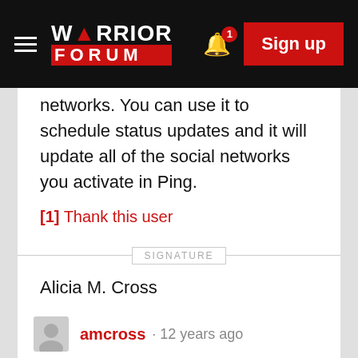[Figure (screenshot): Warrior Forum navigation bar with logo, bell notification icon with badge showing 1, and red Sign up button]
networks. You can use it to schedule status updates and it will update all of the social networks you activate in Ping.
[1]  Thank this user
SIGNATURE
Alicia M. Cross
amcross · 12 years ago
It also depends on how much you are using it and